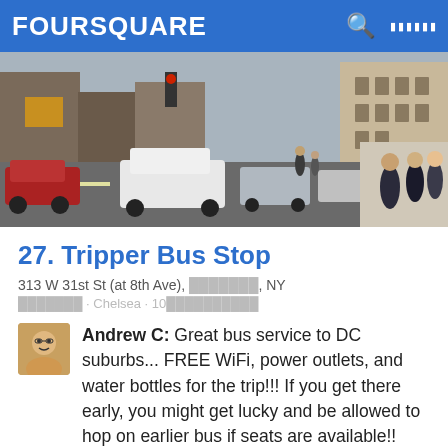FOURSQUARE
[Figure (photo): Street photo of a busy urban intersection in New York City, showing parked cars, tall buildings, and pedestrians walking on the sidewalk.]
27. Tripper Bus Stop
313 W 31st St (at 8th Ave), ███████, NY
███████ · Chelsea · 10██████████
Andrew C: Great bus service to DC suburbs... FREE WiFi, power outlets, and water bottles for the trip!!! If you get there early, you might get lucky and be allowed to hop on earlier bus if seats are available!!